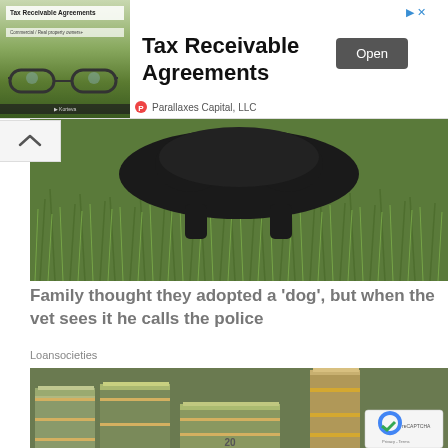[Figure (screenshot): Advertisement banner for Tax Receivable Agreements by Parallaxes Capital, LLC with an image of glasses on a field background, bold title text, and an Open button]
[Figure (photo): Black animal (possibly a bear) partially visible among tall green grass and vegetation]
Family thought they adopted a 'dog', but when the vet sees it he calls the police
Loansocieties
[Figure (photo): Large stacks of bundled US currency ($20 bills) piled on a surface, with a reCAPTCHA badge and Privacy-Terms text visible in the lower right corner]